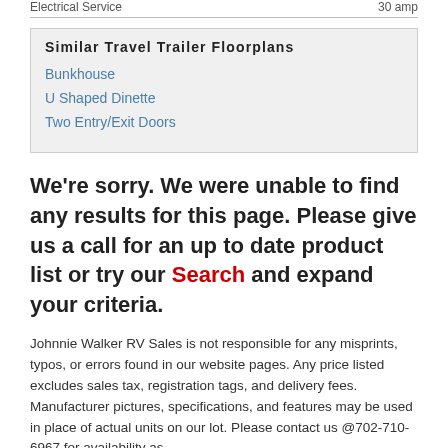Similar Travel Trailer Floorplans
Bunkhouse
U Shaped Dinette
Two Entry/Exit Doors
We're sorry. We were unable to find any results for this page. Please give us a call for an up to date product list or try our Search and expand your criteria.
Johnnie Walker RV Sales is not responsible for any misprints, typos, or errors found in our website pages. Any price listed excludes sales tax, registration tags, and delivery fees. Manufacturer pictures, specifications, and features may be used in place of actual units on our lot. Please contact us @702-710-6967 for availability as